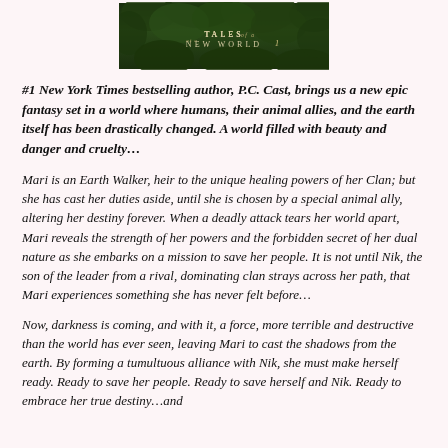[Figure (photo): Book cover image showing 'Tales of a New World 1' text over a dark green forest background]
#1 New York Times bestselling author, P.C. Cast, brings us a new epic fantasy set in a world where humans, their animal allies, and the earth itself has been drastically changed. A world filled with beauty and danger and cruelty…
Mari is an Earth Walker, heir to the unique healing powers of her Clan; but she has cast her duties aside, until she is chosen by a special animal ally, altering her destiny forever. When a deadly attack tears her world apart, Mari reveals the strength of her powers and the forbidden secret of her dual nature as she embarks on a mission to save her people. It is not until Nik, the son of the leader from a rival, dominating clan strays across her path, that Mari experiences something she has never felt before…
Now, darkness is coming, and with it, a force, more terrible and destructive than the world has ever seen, leaving Mari to cast the shadows from the earth. By forming a tumultuous alliance with Nik, she must make herself ready. Ready to save her people. Ready to save herself and Nik. Ready to embrace her true destiny…and